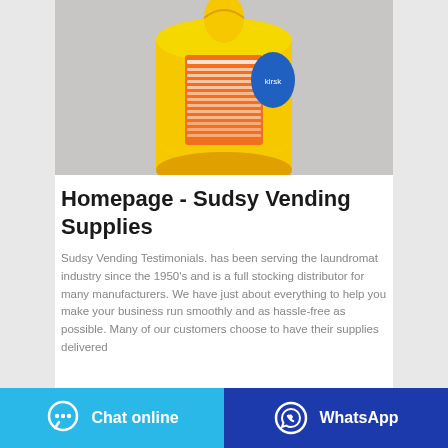[Figure (photo): A yellow laundry detergent powder bag/package standing upright against a grey background. The package has orange and white labeling details visible on the back.]
Homepage - Sudsy Vending Supplies
Sudsy Vending Testimonials. has been serving the laundromat industry since the 1950's and is a full stocking distributor for many manufacturers. We have just about everything to help you make your business run smoothly and as hassle-free as possible. Many of our customers choose to have their supplies delivered
Chat online
WhatsApp